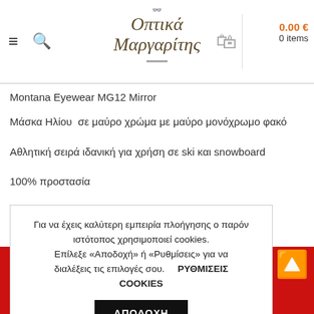Οπτικά Μαργαρίτης — 0.00 € 0 items
Montana Eyewear MG12 Mirror
Μάσκα Ηλίου  σε μαύρο χρώμα με μαύρο μονόχρωμο φακό
Αθλητική σειρά ιδανική για χρήση σε ski και snowboard
100% προστασία
Για να έχεις καλύτερη εμπειρία πλοήγησης ο παρόν ιστότοπος χρησιμοποιεί cookies. Επίλεξε «Αποδοχή» ή «Ρυθμίσεις» για να διαλέξεις τις επιλογές σου.   ΡΥΘΜΙΣΕΙΣ COOKIES   ΑΠΟΔΟΧΗ
ΤΟΣΕΛΙΔΑ  BRANDSOPTICAL.GR